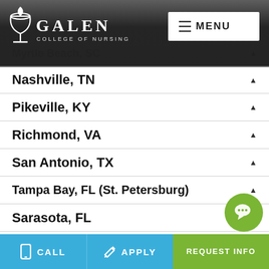[Figure (screenshot): Galen College of Nursing navigation bar with logo and MENU button]
Miami, FL (Pembroke Pines)
Myrtle Beach, SC
Nashville, TN
Pikeville, KY
Richmond, VA
San Antonio, TX
Tampa Bay, FL (St. Petersburg)
Sarasota, FL
Online
CALL   APPLY   REQUEST INFO